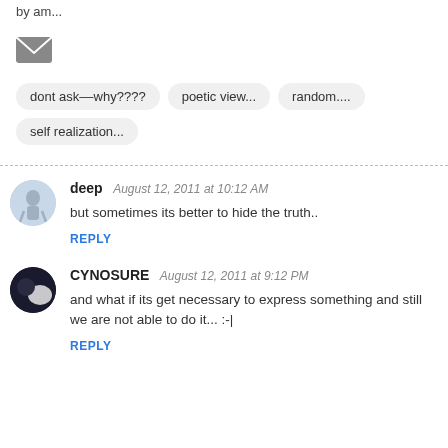by am...
[Figure (other): Email/envelope icon]
dont ask--why????
poetic view...
random....
self realization...
deep  August 12, 2011 at 10:12 AM
but sometimes its better to hide the truth..
REPLY
CYNOSURE  August 12, 2011 at 9:12 PM
and what if its get necessary to express something and still we are not able to do it... :-|
REPLY